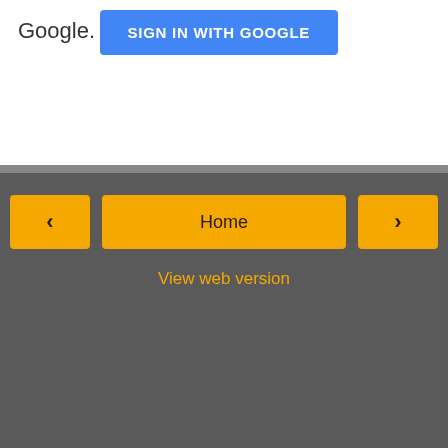Google.
[Figure (screenshot): Blue 'SIGN IN WITH GOOGLE' button]
[Figure (screenshot): Navigation bar with left arrow button, Home button, right arrow button, and 'View web version' link on dark grey background]